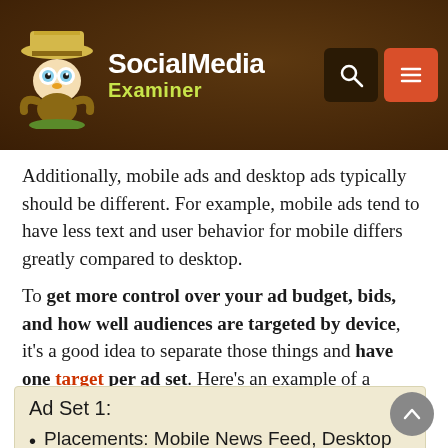Social Media Examiner
Additionally, mobile ads and desktop ads typically should be different. For example, mobile ads tend to have less text and user behavior for mobile differs greatly compared to desktop.
To get more control over your ad budget, bids, and how well audiences are targeted by device, it’s a good idea to separate those things and have one target per ad set. Here’s an example of a typical campaign structure:
Ad Set 1:
Placements: Mobile News Feed, Desktop